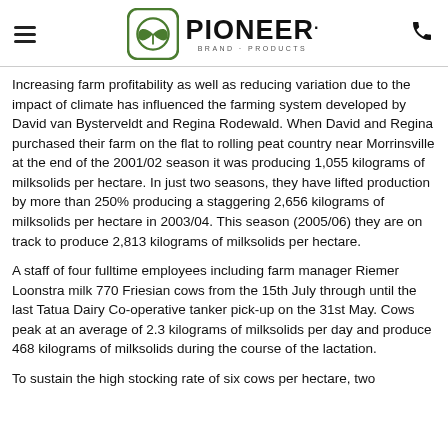PIONEER. BRAND·PRODUCTS
Increasing farm profitability as well as reducing variation due to the impact of climate has influenced the farming system developed by David van Bysterveldt and Regina Rodewald. When David and Regina purchased their farm on the flat to rolling peat country near Morrinsville at the end of the 2001/02 season it was producing 1,055 kilograms of milksolids per hectare. In just two seasons, they have lifted production by more than 250% producing a staggering 2,656 kilograms of milksolids per hectare in 2003/04. This season (2005/06) they are on track to produce 2,813 kilograms of milksolids per hectare.
A staff of four fulltime employees including farm manager Riemer Loonstra milk 770 Friesian cows from the 15th July through until the last Tatua Dairy Co-operative tanker pick-up on the 31st May. Cows peak at an average of 2.3 kilograms of milksolids per day and produce 468 kilograms of milksolids during the course of the lactation.
To sustain the high stocking rate of six cows per hectare, two